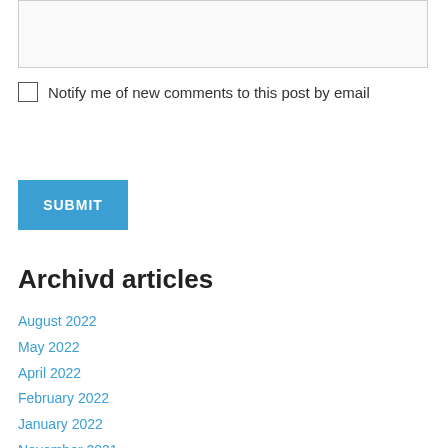[textarea input box]
Notify me of new comments to this post by email
SUBMIT
Archivd articles
August 2022
May 2022
April 2022
February 2022
January 2022
November 2021
September 2021